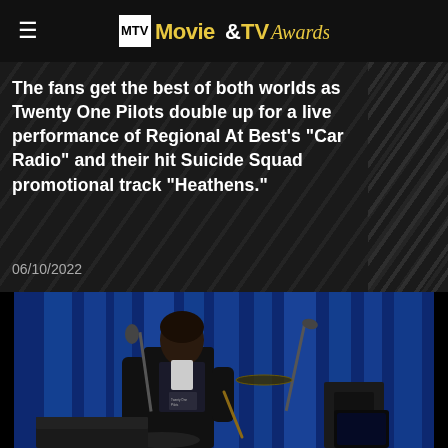MTV Movie&TV Awards
The fans get the best of both worlds as Twenty One Pilots double up for a live performance of Regional At Best's "Car Radio" and their hit Suicide Squad promotional track "Heathens."
06/10/2022
[Figure (photo): A performer on stage playing drums/instruments at what appears to be the MTV Movie & TV Awards, set against a blue-lit stage backdrop with column lighting. The person is wearing a dark jacket and holding drumsticks.]